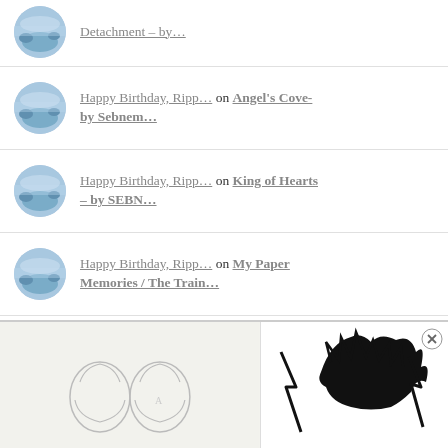Happy Birthday, Ripp… on Angel's Cove- by Sebnem…
Happy Birthday, Ripp… on King of Hearts – by SEBN…
Happy Birthday, Ripp… on My Paper Memories / The Train…
[Figure (illustration): Advertisement banner showing two sections: left has a pencil sketch of two figures, right has a bold black anime-style lightning/spiky hair illustration with an X close button]
Advertisements
[Figure (illustration): WordPress.com advertisement: purple-blue gradient background with text 'Simplified pricing for everything you need.' and WordPress.com logo]